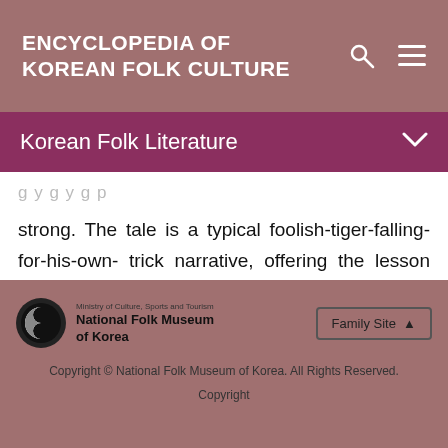ENCYCLOPEDIA OF KOREAN FOLK CULTURE
Korean Folk Literature
strong. The tale is a typical foolish-tiger-falling-for-his-own- trick narrative, offering the lesson that when the strong is too oppressive, it can be defeated by the weak.
National Folk Museum of Korea | Ministry of Culture, Sports and Tourism | Family Site | Copyright © National Folk Museum of Korea. All Rights Reserved. | Copyright